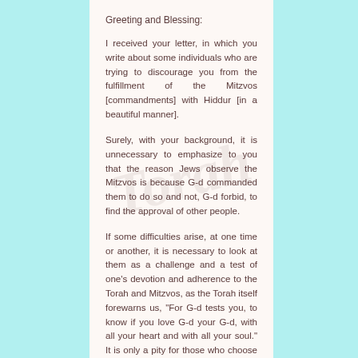Greeting and Blessing:
I received your letter, in which you write about some individuals who are trying to discourage you from the fulfillment of the Mitzvos [commandments] with Hiddur [in a beautiful manner].
Surely, with your background, it is unnecessary to emphasize to you that the reason Jews observe the Mitzvos is because G-d commanded them to do so and not, G-d forbid, to find the approval of other people.
If some difficulties arise, at one time or another, it is necessary to look at them as a challenge and a test of one's devotion and adherence to the Torah and Mitzvos, as the Torah itself forewarns us, "For G-d tests you, to know if you love G-d your G-d, with all your heart and with all your soul." It is only a pity for those who choose to act on the distracting agencies, to